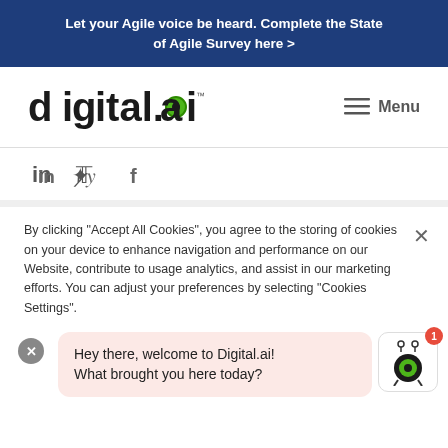Let your Agile voice be heard. Complete the State of Agile Survey here >
[Figure (logo): digital.ai logo with green dot accents]
Menu
[Figure (infographic): Social media icons: LinkedIn, Twitter, Facebook]
By clicking "Accept All Cookies", you agree to the storing of cookies on your device to enhance navigation and performance on our Website, contribute to usage analytics, and assist in our marketing efforts. You can adjust your preferences by selecting “Cookies Settings”.
Hey there, welcome to Digital.ai! What brought you here today?